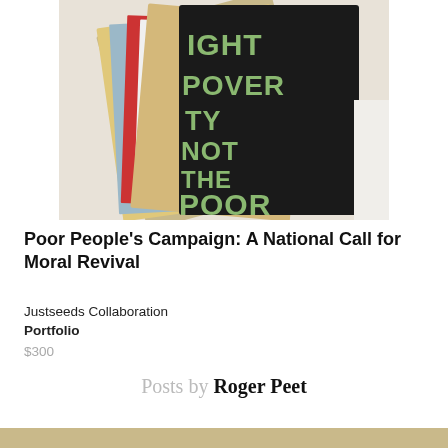[Figure (photo): Photograph of stacked posters/prints, one prominently showing text 'FIGHT POVERTY NOT THE POOR' in green letters on a black background, with other colorful printed materials fanned out behind it.]
Poor People's Campaign: A National Call for Moral Revival
Justseeds Collaboration
Portfolio
$300
Posts by Roger Peet